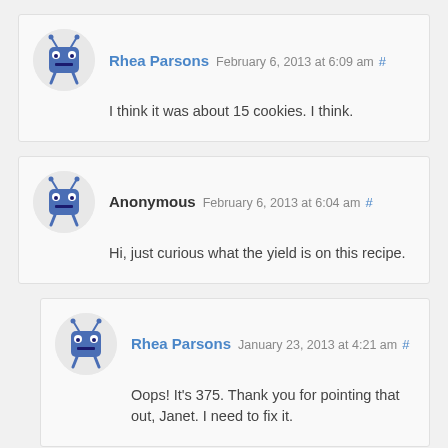Rhea Parsons February 6, 2013 at 6:09 am #
I think it was about 15 cookies. I think.
Anonymous February 6, 2013 at 6:04 am #
Hi, just curious what the yield is on this recipe.
Rhea Parsons January 23, 2013 at 4:21 am #
Oops! It's 375. Thank you for pointing that out, Janet. I need to fix it.